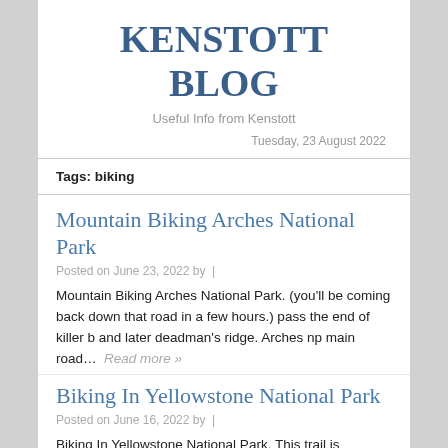KENSTOTT BLOG
Useful Info from Kenstott
Tuesday, 23 August 2022
Tags: biking
Mountain Biking Arches National Park
Posted on June 23, 2022 by |
Mountain Biking Arches National Park. (you'll be coming back down that road in a few hours.) pass the end of killer b and later deadman's ridge. Arches np main road… Read more »
Biking In Yellowstone National Park
Posted on June 16, 2022 by |
Biking In Yellowstone National Park. This trail is